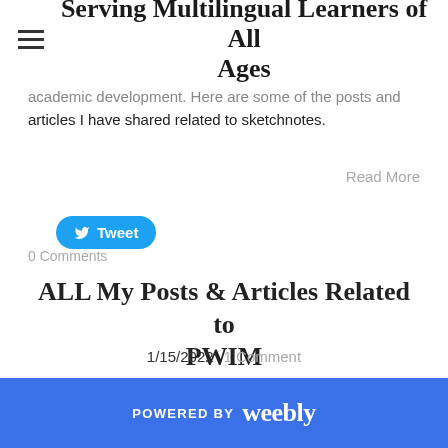Serving Multilingual Learners of All Ages
academic development. Here are some of the posts and articles I have shared related to sketchnotes.
Read More
[Figure (other): Twitter Tweet button (blue pill-shaped button with bird icon and 'Tweet' text)]
0 Comments
ALL My Posts & Articles Related to PWIM
1/15/2022  1 Comment
POWERED BY weebly